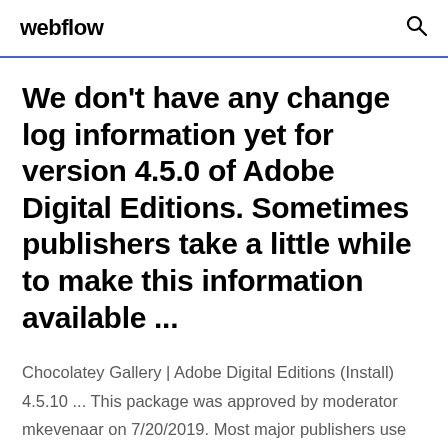webflow
We don't have any change log information yet for version 4.5.0 of Adobe Digital Editions. Sometimes publishers take a little while to make this information available ...
Chocolatey Gallery | Adobe Digital Editions (Install) 4.5.10 ... This package was approved by moderator mkevenaar on 7/20/2019. Most major publishers use Adobe Digital Editions (ADE) to proof-read their books. Utiliser Adobe Digital Editions – Aide TEA Installer Adobe Digital Editions l'installation d'Adobe Digital Editions